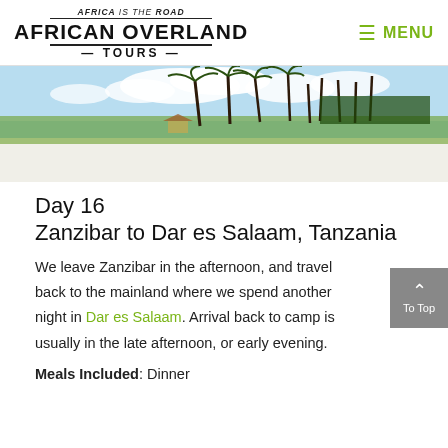AFRICA is the ROAD | AFRICAN OVERLAND TOURS | MENU
[Figure (photo): Beach scene with white sand, blue sky with clouds, and palm trees along the shoreline in Zanzibar]
Day 16
Zanzibar to Dar es Salaam, Tanzania
We leave Zanzibar in the afternoon, and travel back to the mainland where we spend another night in Dar es Salaam. Arrival back to camp is usually in the late afternoon, or early evening.
Meals Included: Dinner